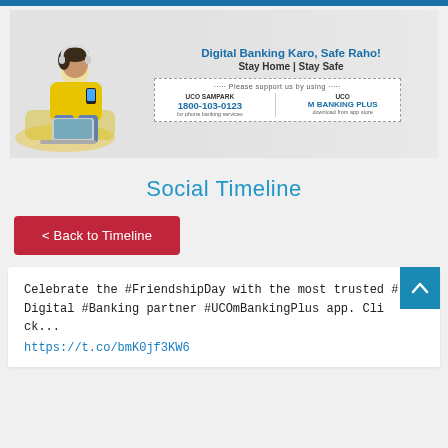[Figure (illustration): UCO Bank banner showing a woman in yellow jacket sitting on sofa with laptop and phone. Text reads 'Digital Banking Karo, Safe Raho! Stay Home | Stay Safe' with UCO SAMPARK 1800-103-0123 and UCO M BANKING PLUS contact info.]
Social Timeline
< Back to Timeline
Celebrate the #FriendshipDay with the most trusted #Digital #Banking partner #UCOmBankingPlus app. Click...
https://t.co/bmK0jf3KW6